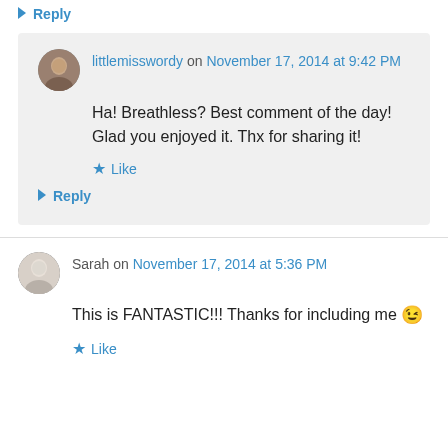↳ Reply
littlemisswordy on November 17, 2014 at 9:42 PM
Ha! Breathless? Best comment of the day! Glad you enjoyed it. Thx for sharing it!
★ Like
↳ Reply
Sarah on November 17, 2014 at 5:36 PM
This is FANTASTIC!!! Thanks for including me 😉
★ Like